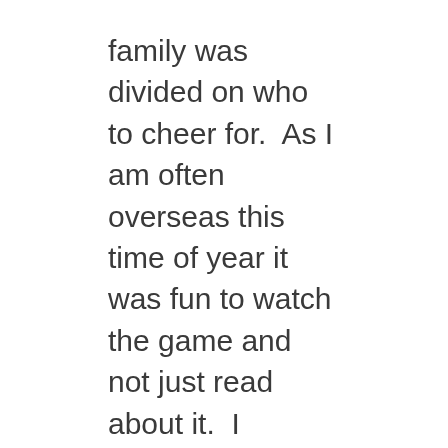family was divided on who to cheer for. As I am often overseas this time of year it was fun to watch the game and not just read about it. I watched the game in Richmond VA, the home of the Seattle Seahawk's Christian quarterback, Russell Wilson, so the crowd I watched with was heavily pro Seattle. For non-American football fans please bear with me: The first play of the game the center (the guy who snaps the football between his legs) thought Peyton Manning (the Denver quarterback) said “Hut” when he hadn’t so he snapped the ball right over Peyton’s head in to their own end zone. This gave 2 points to Seattle on the very first play of the game.